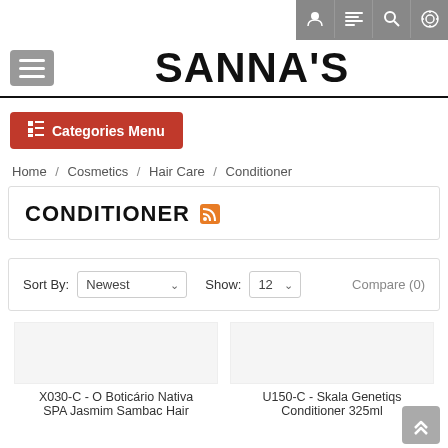[Figure (screenshot): Top navigation bar with user, list, search, and settings icons on dark grey background]
SANNA'S
[Figure (other): Red Categories Menu button with list icon]
Home / Cosmetics / Hair Care / Conditioner
CONDITIONER
Sort By: Newest   Show: 12   Compare (0)
X030-C - O Boticário Nativa SPA Jasmim Sambac Hair
U150-C - Skala Genetiqs Conditioner 325ml